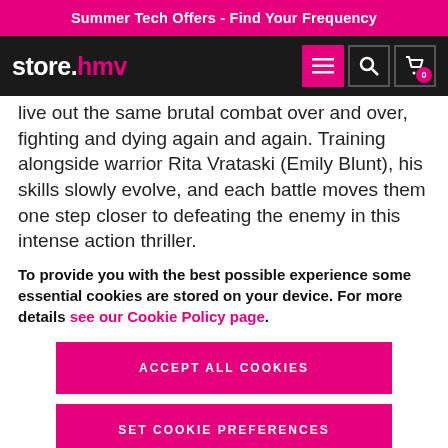Summer Tech Offers - Find Your Frequency
[Figure (logo): store.hmv logo and navigation icons including menu, search, and cart]
live out the same brutal combat over and over, fighting and dying again and again. Training alongside warrior Rita Vrataski (Emily Blunt), his skills slowly evolve, and each battle moves them one step closer to defeating the enemy in this intense action thriller.
To provide you with the best possible experience some essential cookies are stored on your device. For more details see our Cookie Policy page.
ACCEPT ALL COOKIES
SET COOKIE PREFERENCES